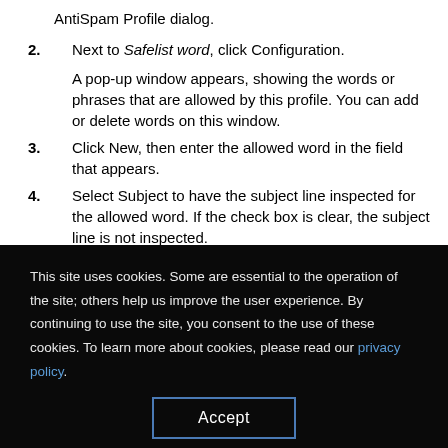AntiSpam Profile dialog.
2. Next to Safelist word, click Configuration.
A pop-up window appears, showing the words or phrases that are allowed by this profile. You can add or delete words on this window.
3. Click New, then enter the allowed word in the field that appears.
4. Select Subject to have the subject line inspected for the allowed word. If the check box is clear, the subject line is not inspected.
This site uses cookies. Some are essential to the operation of the site; others help us improve the user experience. By continuing to use the site, you consent to the use of these cookies. To learn more about cookies, please read our privacy policy.